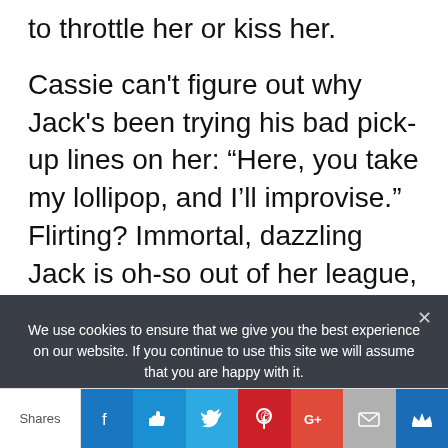to throttle her or kiss her.
Cassie can't figure out why Jack's been trying his bad pick-up lines on her: “Here, you take my lollipop, and I’ll improvise.” Flirting? Immortal, dazzling Jack is oh-so out of her league, isn’t he?
No wonder my hero and heroine spend most of
We use cookies to ensure that we give you the best experience on our website. If you continue to use this site we will assume that you are happy with it.
Shares